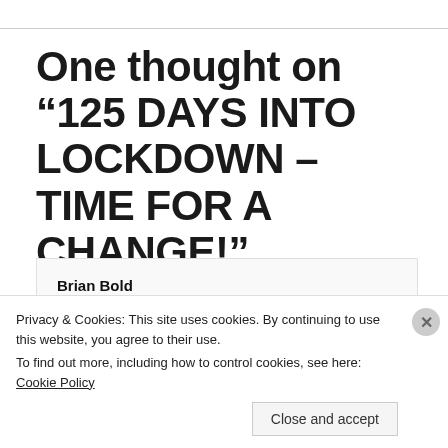One thought on “125 DAYS INTO LOCKDOWN – TIME FOR A CHANGE!”
Brian Bold
July 23, 2020 at 14:04
Privacy & Cookies: This site uses cookies. By continuing to use this website, you agree to their use.
To find out more, including how to control cookies, see here: Cookie Policy
Close and accept